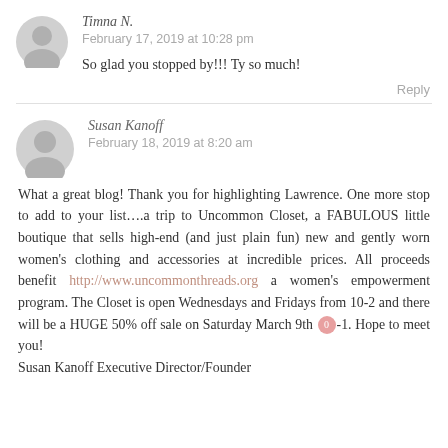Timna N.
February 17, 2019 at 10:28 pm
So glad you stopped by!!! Ty so much!
Reply
Susan Kanoff
February 18, 2019 at 8:20 am
What a great blog! Thank you for highlighting Lawrence. One more stop to add to your list….a trip to Uncommon Closet, a FABULOUS little boutique that sells high-end (and just plain fun) new and gently worn women's clothing and accessories at incredible prices. All proceeds benefit http://www.uncommonthreads.org a women's empowerment program. The Closet is open Wednesdays and Fridays from 10-2 and there will be a HUGE 50% off sale on Saturday March 9th 0-1. Hope to meet you!
Susan Kanoff Executive Director/Founder